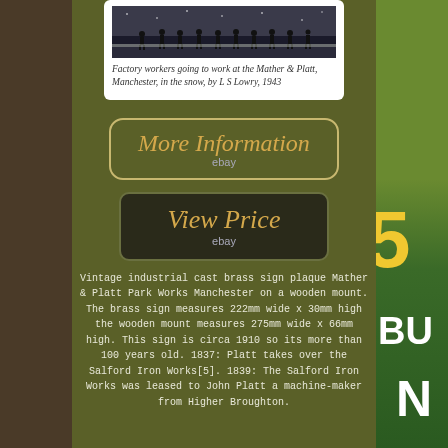[Figure (photo): Factory workers walking to work in the snow, painting by L S Lowry]
Factory workers going to work at the Mather & Platt, Manchester, in the snow, by L S Lowry, 1943
[Figure (other): More Information button with ebay label]
[Figure (other): View Price button with ebay label]
Vintage industrial cast brass sign plaque Mather & Platt Park Works Manchester on a wooden mount. The brass sign measures 222mm wide x 30mm high the wooden mount measures 275mm wide x 66mm high. This sign is circa 1910 so its more than 100 years old. 1837: Platt takes over the Salford Iron Works[5]. 1839: The Salford Iron Works was leased to John Platt a machine-maker from Higher Broughton.